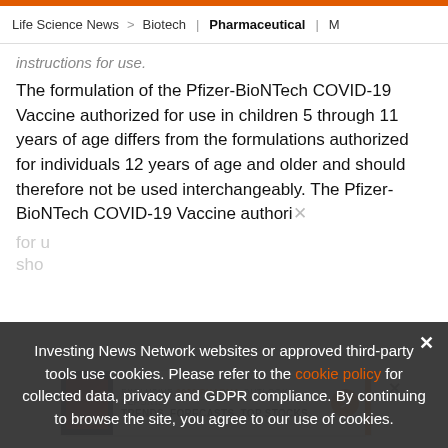Life Science News > Biotech | Pharmaceutical | M
instructions for use.
The formulation of the Pfizer-BioNTech COVID-19 Vaccine authorized for use in children 5 through 11 years of age differs from the formulations authorized for individuals 12 years of age and older and should therefore not be used interchangeably. The Pfizer-BioNTech COVID-19 Vaccine authori... for u... sho...
[Figure (other): Advertisement popup: EXCLUSIVE 2022 PHARMA OUTLOOK REPORT. TRENDS. FORECASTS. TOP STOCKS. with orange arrow button and orange vertical bar.]
Investing News Network websites or approved third-party tools use cookies. Please refer to the cookie policy for collected data, privacy and GDPR compliance. By continuing to browse the site, you agree to our use of cookies.